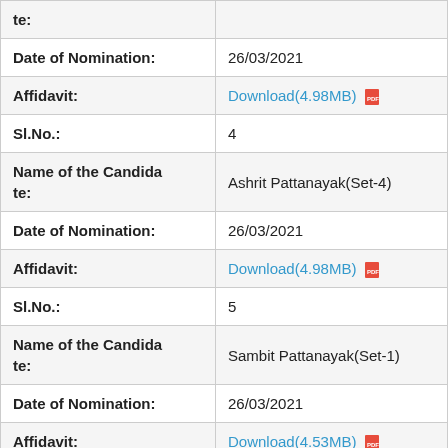| te: |  |
| Date of Nomination: | 26/03/2021 |
| Affidavit: | Download(4.98MB) |
| Sl.No.: | 4 |
| Name of the Candidate: | Ashrit Pattanayak(Set-4) |
| Date of Nomination: | 26/03/2021 |
| Affidavit: | Download(4.98MB) |
| Sl.No.: | 5 |
| Name of the Candidate: | Sambit Pattanayak(Set-1) |
| Date of Nomination: | 26/03/2021 |
| Affidavit: | Download(4.53MB) |
| Sl.No.: | 6 |